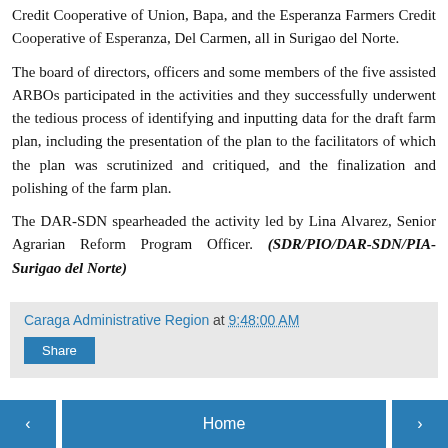Credit Cooperative of Union, Bapa, and the Esperanza Farmers Credit Cooperative of Esperanza, Del Carmen, all in Surigao del Norte.
The board of directors, officers and some members of the five assisted ARBOs participated in the activities and they successfully underwent the tedious process of identifying and inputting data for the draft farm plan, including the presentation of the plan to the facilitators of which the plan was scrutinized and critiqued, and the finalization and polishing of the farm plan.
The DAR-SDN spearheaded the activity led by Lina Alvarez, Senior Agrarian Reform Program Officer. (SDR/PIO/DAR-SDN/PIA-Surigao del Norte)
Caraga Administrative Region at 9:48:00 AM
Share
‹  Home  ›